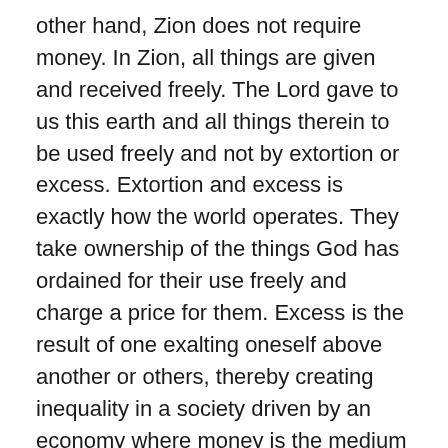other hand, Zion does not require money. In Zion, all things are given and received freely. The Lord gave to us this earth and all things therein to be used freely and not by extortion or excess. Extortion and excess is exactly how the world operates. They take ownership of the things God has ordained for their use freely and charge a price for them. Excess is the result of one exalting oneself above another or others, thereby creating inequality in a society driven by an economy where money is the medium of exchange. In Zion, there are no rich because there are no poor because there is no money, there being no need for money. In Babylon, however, such behavior is the iniquity of a people. Idols, idolatry and commerce (economy) are all tools of Mammon.
Jehovah compares the ruling priests to Sodom and the layman to Gomorrah. Sodom and Gomorrah set the